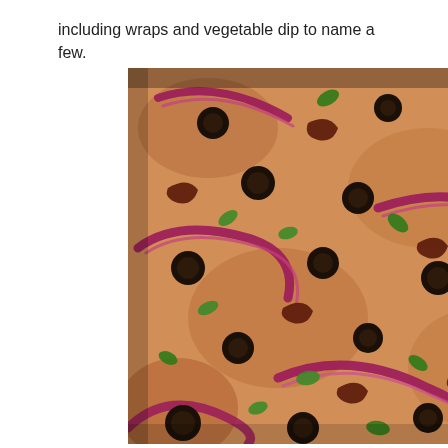including wraps and vegetable dip to name a few.
[Figure (photo): Close-up photograph of a food spread showing black olives, red onion rings, fresh herbs (likely basil or oregano), sun-dried tomatoes, and a chunky orange/red dip or spread covering the entire surface.]